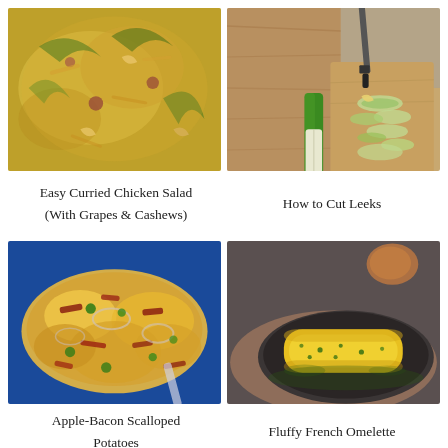[Figure (photo): Aerial view of curried chicken salad with grapes, cashews, and greens on a plate]
[Figure (photo): Sliced leeks on a wooden cutting board with a knife, showing how to cut leeks]
Easy Curried Chicken Salad
(With Grapes & Cashews)
How to Cut Leeks
[Figure (photo): Apple-Bacon Scalloped Potatoes in a blue baking dish topped with melted cheese, bacon, and fresh herbs]
[Figure (photo): A fluffy French omelette rolled log-style on a dark plate with herbs, an egg visible in background]
Apple-Bacon Scalloped
Potatoes
Fluffy French Omelette